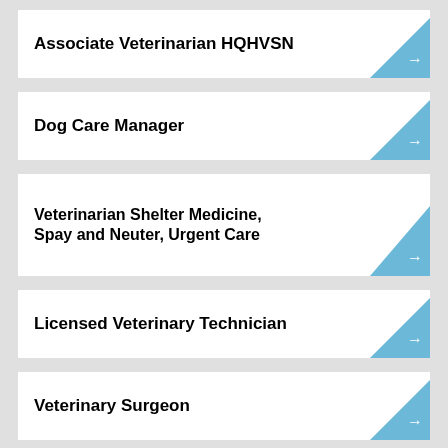Associate Veterinarian HQHVSN
Dog Care Manager
Veterinarian Shelter Medicine, Spay and Neuter, Urgent Care
Licensed Veterinary Technician
Veterinary Surgeon